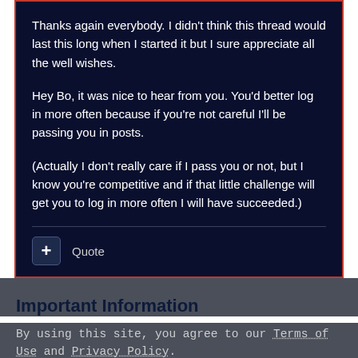Thanks again everybody. I didn't think this thread would last this long when I started it but I sure appreciate all the well wishes.

Hey Bo, it was nice to hear from you. You'd better log in more often because if you're not careful I'll be passing you in posts.

(Actually I don't really care if I pass you or not, but I know you're competitive and if that little challenge will get you to log in more often I will have succeeded.)
Quote
Important Information
By using this site, you agree to our Terms of Use and Privacy Policy.
✓ I accept